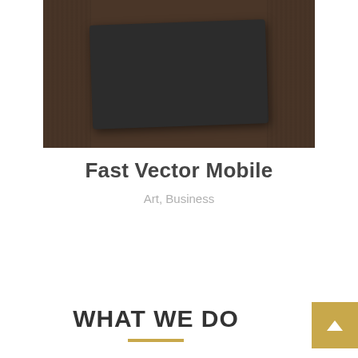[Figure (photo): A dark folded cloth or t-shirt laid flat on a dark brown wooden surface, photographed from above]
Fast Vector Mobile
Art, Business
WHAT WE DO